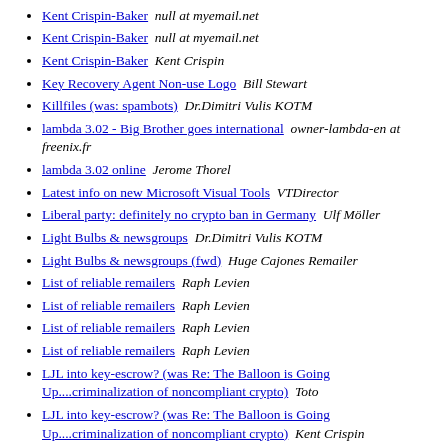Keaton's Remailer Applet   bomber
Kent Crispin-Baker   null at myemail.net
Kent Crispin-Baker   null at myemail.net
Kent Crispin-Baker   Kent Crispin
Key Recovery Agent Non-use Logo   Bill Stewart
Killfiles (was: spambots)   Dr.Dimitri Vulis KOTM
lambda 3.02 - Big Brother goes international   owner-lambda-en at freenix.fr
lambda 3.02 online   Jerome Thorel
Latest info on new Microsoft Visual Tools   VTDirector
Liberal party: definitely no crypto ban in Germany   Ulf Möller
Light Bulbs & newsgroups   Dr.Dimitri Vulis KOTM
Light Bulbs & newsgroups (fwd)   Huge Cajones Remailer
List of reliable remailers   Raph Levien
List of reliable remailers   Raph Levien
List of reliable remailers   Raph Levien
List of reliable remailers   Raph Levien
LJL into key-escrow? (was Re: The Balloon is Going Up....criminalization of noncompliant crypto)   Toto
LJL into key-escrow? (was Re: The Balloon is Going Up....criminalization of noncompliant crypto)   Kent Crispin
LJL into key-escrow? (was Re: The Balloon is Going Up....criminalization of noncompliant crypto)   Toto
LSL5   Patty can't get into Studio 2   Tom